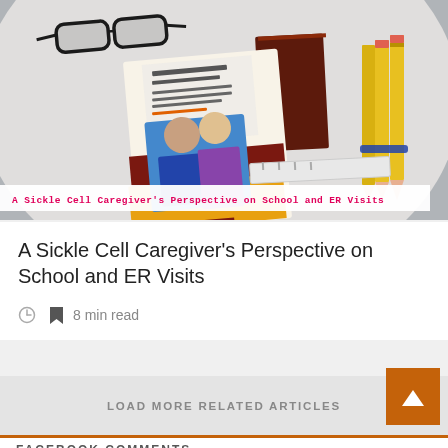[Figure (photo): Photo of a white round table with school supplies including glasses, pencils, a brochure about Sickle Cell and School policy, and a dark brown book. An overlay banner reads 'A Sickle Cell Caregiver's Perspective on School and ER Visits' in pink/red monospace text on white background.]
A Sickle Cell Caregiver’s Perspective on School and ER Visits
8 min read
LOAD MORE RELATED ARTICLES
FACEBOOK COMMENTS